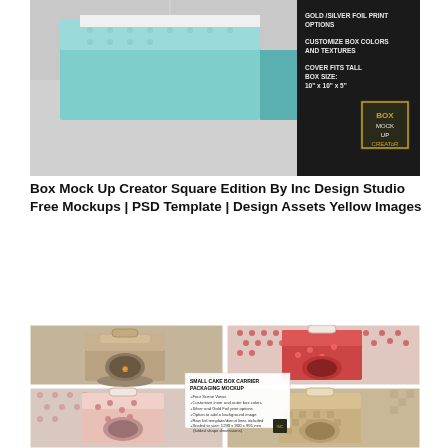[Figure (photo): Box Mock Up Creator product photo showing a teal/mint colored square box with white lid on gray background, alongside black panel with text: GOLD/SILVER FOIL PRINT OPTIONS, CUSTOMIZE BOX COLORS AND TEXTURES, COVER FITS TALL BOX SIZE: 10" x 10" x 5", and Box Mock Up Creator logo]
Box Mock Up Creator Square Edition By Inc Design Studio Free Mockups | PSD Template | Design Assets Yellow Images
[Figure (photo): Four views of Small Cake Box Carrier Packaging Mockup showing kraft brown, red polka dot, pink dot pattern, and tan checkered versions of a cake carrier box. Center overlay card reads: SMALL CAKE BOX CARRIER PACKAGING MOCKUP - Four Scene Views, Customize inner and outer box colors, Silver and Gold Foil print options, Option to add a background image, Raw foil template/diecut lines included, Scaled to size: 1290 x 900 x 991mm (folded shape dimensions)]